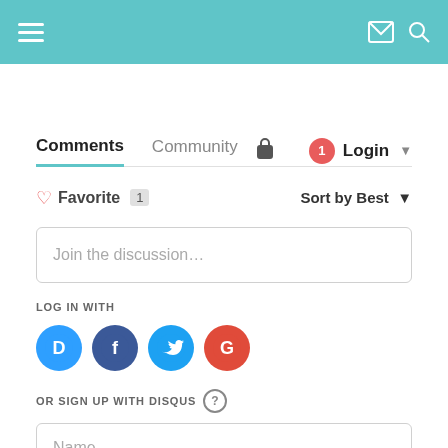[Figure (screenshot): Teal navigation header bar with hamburger menu icon on left and envelope/search icons on right]
Comments   Community   🔒   1   Login ▾
♡ Favorite  1    Sort by Best ▾
Join the discussion…
LOG IN WITH
[Figure (logo): Social login icons: Disqus (blue D), Facebook (dark blue f), Twitter (light blue bird), Google (red G)]
OR SIGN UP WITH DISQUS ?
Name